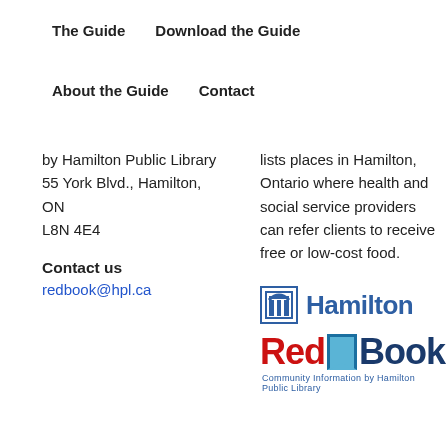The Guide    Download the Guide
About the Guide    Contact
by Hamilton Public Library
55 York Blvd., Hamilton, ON
L8N 4E4
Contact us
redbook@hpl.ca
lists places in Hamilton, Ontario where health and social service providers can refer clients to receive free or low-cost food.
[Figure (logo): Hamilton city logo with blue building icon and 'Hamilton' text in blue]
[Figure (logo): Red Book logo with red 'Red', blue bookmark icon, blue 'Book', and subtitle 'Community Information by Hamilton Public Library']